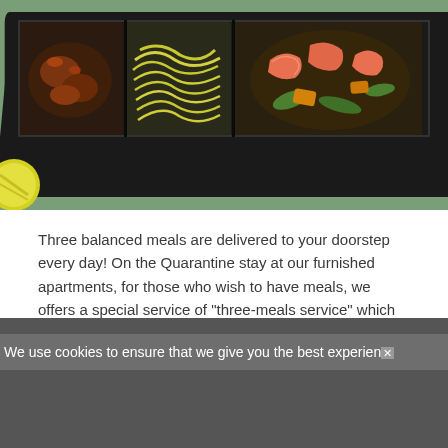[Figure (photo): Bento box meal tray with multiple compartments containing noodles, glazed meat, shrimp stir-fry, and other Asian dishes, photographed on a green surface]
Three balanced meals are delivered to your doorstep every day! On the Quarantine stay at our furnished apartments, for those who wish to have meals, we offers a special service of "three-meals service" which delivers 3 meals once a day  from the day after moving-in. As a precaution of the mutual infection, they are placed [...]
We use cookies to ensure that we give you the best experience